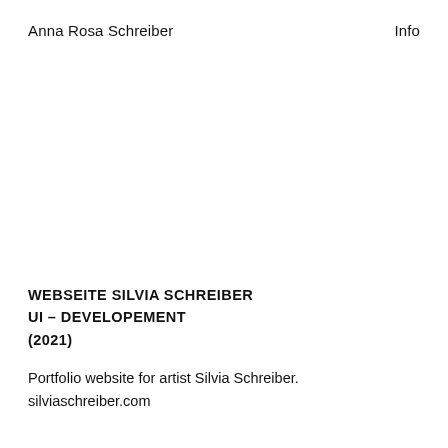Anna Rosa Schreiber
Info
WEBSEITE SILVIA SCHREIBER
UI – DEVELOPEMENT
(2021)
Portfolio website for artist Silvia Schreiber.
silviaschreiber.com